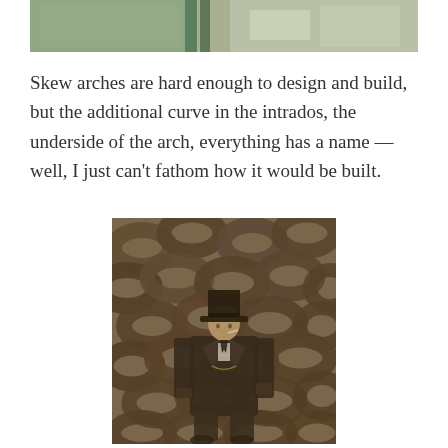[Figure (photo): Top portion of a photo showing industrial or construction setting with green pipes/tubes and concrete blocks in background]
Skew arches are hard enough to design and build, but the additional curve in the intrados, the underside of the arch, everything has a name — well, I just can't fathom how it would be built.
[Figure (photo): Sepia-toned historical photograph of a Victorian-era man in a top hat and formal attire, leaning against large iron chains. This is the famous photograph of Isambard Kingdom Brunel standing in front of the chains of the SS Great Eastern.]